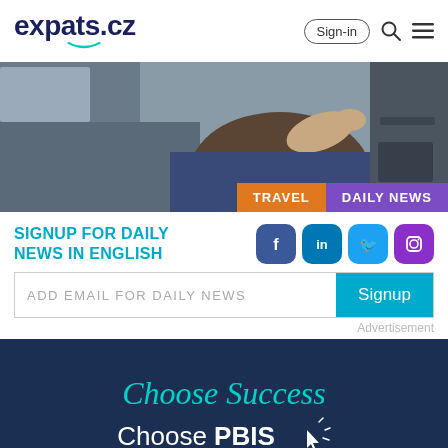expats.cz
[Figure (screenshot): Hero banner with car interior image showing person in back seat, with TRAVEL and DAILY NEWS category tags in bottom right]
SIGNUP FOR DAILY NEWS IN ENGLISH
[Figure (illustration): Social media icons: Facebook, LinkedIn, Twitter, Instagram]
ADD EMAIL FOR DAILY NEWS
Signup
Advertisement
[Figure (illustration): Advertisement for Prague British International School: Choose Success, Choose PBIS with cursor icon and PRAGUE BRITISH text and logo]
Choose Success
Choose PBIS
PRAGUE BRITISH